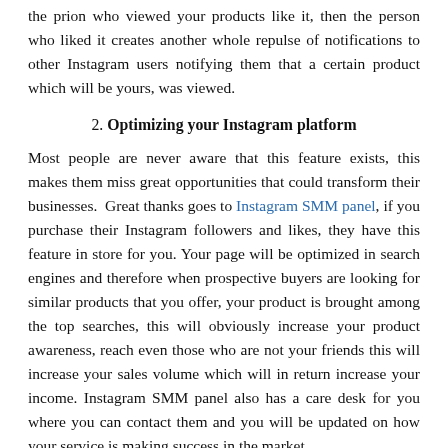the prion who viewed your products like it, then the person who liked it creates another whole repulse of notifications to other Instagram users notifying them that a certain product which will be yours, was viewed.
2. Optimizing your Instagram platform
Most people are never aware that this feature exists, this makes them miss great opportunities that could transform their businesses. Great thanks goes to Instagram SMM panel, if you purchase their Instagram followers and likes, they have this feature in store for you. Your page will be optimized in search engines and therefore when prospective buyers are looking for similar products that you offer, your product is brought among the top searches, this will obviously increase your product awareness, reach even those who are not your friends this will increase your sales volume which will in return increase your income. Instagram SMM panel also has a care desk for you where you can contact them and you will be updated on how your service is making success in the market.
3. Gain real likes and followers